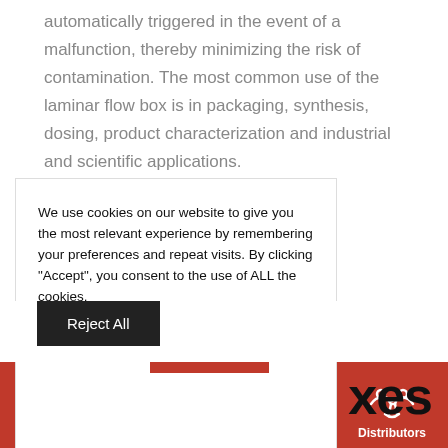automatically triggered in the event of a malfunction, thereby minimizing the risk of contamination. The most common use of the laminar flow box is in packaging, synthesis, dosing, product characterization and industrial and scientific applications.
We use cookies on our website to give you the most relevant experience by remembering your preferences and repeat visits. By clicking "Accept", you consent to the use of ALL the cookies.
Cookie settings
ACCEPT
Reject All
Quote | Resources | Call-Back | Distributors